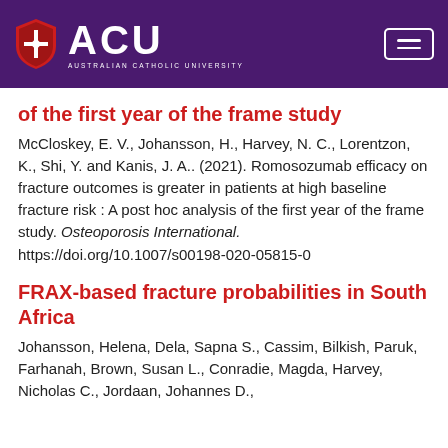ACU — Australian Catholic University
of the first year of the frame study
McCloskey, E. V., Johansson, H., Harvey, N. C., Lorentzon, K., Shi, Y. and Kanis, J. A.. (2021). Romosozumab efficacy on fracture outcomes is greater in patients at high baseline fracture risk : A post hoc analysis of the first year of the frame study. Osteoporosis International. https://doi.org/10.1007/s00198-020-05815-0
FRAX-based fracture probabilities in South Africa
Johansson, Helena, Dela, Sapna S., Cassim, Bilkish, Paruk, Farhanah, Brown, Susan L., Conradie, Magda, Harvey, Nicholas C., Jordaan, Johannes D.,